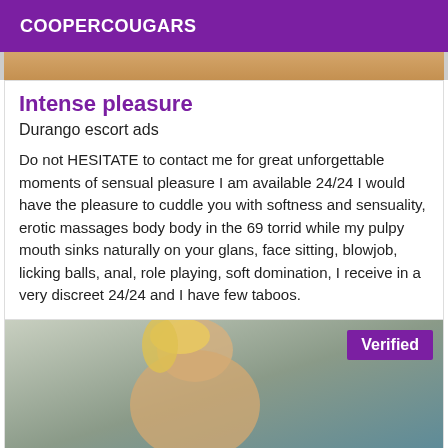COOPERCOUGARS
[Figure (photo): Partial photo strip at top of listing card]
Intense pleasure
Durango escort ads
Do not HESITATE to contact me for great unforgettable moments of sensual pleasure I am available 24/24 I would have the pleasure to cuddle you with softness and sensuality, erotic massages body body in the 69 torrid while my pulpy mouth sinks naturally on your glans, face sitting, blowjob, licking balls, anal, role playing, soft domination, I receive in a very discreet 24/24 and I have few taboos.
[Figure (photo): Photo of a blonde woman, with a 'Verified' badge in the top right corner]